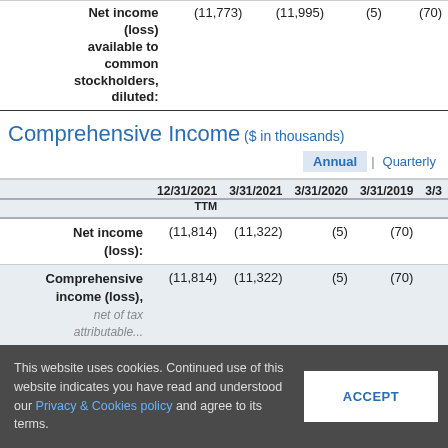|  | 12/31/2021 TTM | 3/31/2021 | 3/31/2020 | 3/31/2019 | 3/3... |
| --- | --- | --- | --- | --- | --- |
| Net income (loss) available to common stockholders, diluted: | (11,773) | (11,995) | (5) | (70) |  |
Comprehensive Income ($ in thousands)
Annual | Quarterly
|  | 12/31/2021 TTM | 3/31/2021 | 3/31/2020 | 3/31/2019 | 3/3... |
| --- | --- | --- | --- | --- | --- |
| Net income (loss): | (11,814) | (11,322) | (5) | (70) |  |
| Comprehensive income (loss), net of tax attributable to... | (11,814) | (11,322) | (5) | (70) |  |
This website uses cookies. Continued use of this website indicates you have read and understood our Privacy & Cookies policy and agree to its terms.